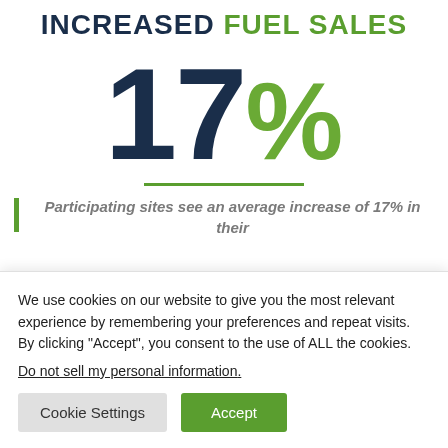INCREASED FUEL SALES
17%
Participating sites see an average increase of 17% in their
We use cookies on our website to give you the most relevant experience by remembering your preferences and repeat visits. By clicking “Accept”, you consent to the use of ALL the cookies.
Do not sell my personal information.
Cookie Settings
Accept